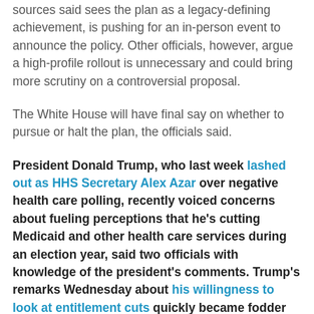sources said sees the plan as a legacy-defining achievement, is pushing for an in-person event to announce the policy. Other officials, however, argue a high-profile rollout is unnecessary and could bring more scrutiny on a controversial proposal.
The White House will have final say on whether to pursue or halt the plan, the officials said.
President Donald Trump, who last week lashed out as HHS Secretary Alex Azar over negative health care polling, recently voiced concerns about fueling perceptions that he's cutting Medicaid and other health care services during an election year, said two officials with knowledge of the president's comments. Trump's remarks Wednesday about his willingness to look at entitlement cuts quickly became fodder for Democrats, as they accused him of violating a campaign pledge to leave those programs alone.